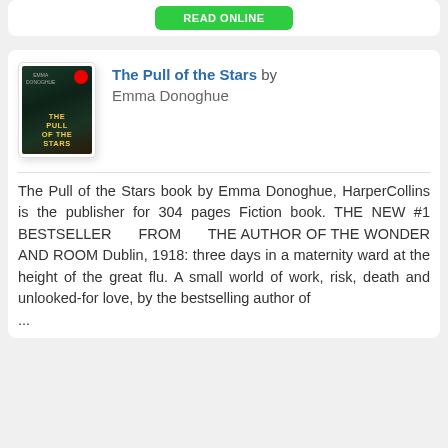[Figure (other): Green 'READ ONLINE' button at the top of the page inside a white card]
[Figure (illustration): Book cover for 'The Pull of the Stars' by Emma Donoghue — dark tones with yellow title text and a red badge]
The Pull of the Stars by Emma Donoghue
The Pull of the Stars book by Emma Donoghue, HarperCollins is the publisher for 304 pages Fiction book. THE NEW #1 BESTSELLER FROM THE AUTHOR OF THE WONDER AND ROOM Dublin, 1918: three days in a maternity ward at the height of the great flu. A small world of work, risk, death and unlooked-for love, by the bestselling author of ...